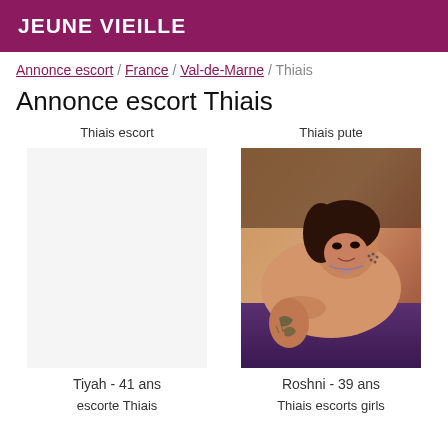JEUNE VIEILLE
Annonce escort / France / Val-de-Marne / Thiais
Annonce escort Thiais
Thiais escort
Thiais pute
[Figure (photo): Photo of a woman lying on a purple surface with a tattoo on her arm]
Tiyah - 41 ans
Roshni - 39 ans
escorte Thiais
Thiais escorts girls